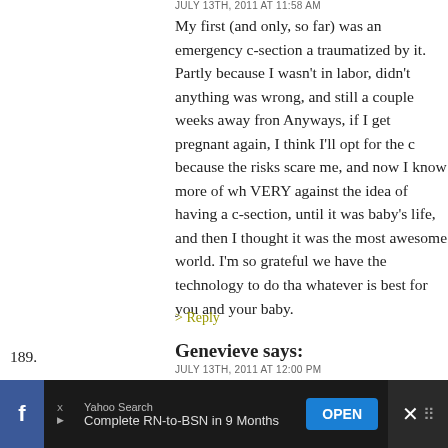JULY 13TH, 2011 AT 11:58 AM
My first (and only, so far) was an emergency c-section a traumatized by it. Partly because I wasn't in labor, didn' anything was wrong, and still a couple weeks away fron Anyways, if I get pregnant again, I think I'll opt for the c because the risks scare me, and now I know more of wh VERY against the idea of having a c-section, until it was baby's life, and then I thought it was the most awesome world. I'm so grateful we have the technology to do tha whatever is best for you and your baby.
> Reply
189. Genevieve says:
JULY 13TH, 2011 AT 12:00 PM
I have had both vaginal (3x) and an emergency C-sectio back it seems the C-section was an easier recovery for n was medically necessary to have one I carry doubt and was supposed to be 'fine' needed to be intubated and e
Yahoo Search Complete RN-to-BSN in 9 Months OPEN